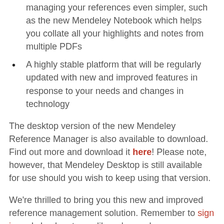managing your references even simpler, such as the new Mendeley Notebook which helps you collate all your highlights and notes from multiple PDFs
A highly stable platform that will be regularly updated with new and improved features in response to your needs and changes in technology
The desktop version of the new Mendeley Reference Manager is also available to download. Find out more and download it here! Please note, however, that Mendeley Desktop is still available for use should you wish to keep using that version.
We're thrilled to bring you this new and improved reference management solution. Remember to sign in and check out your library's new home